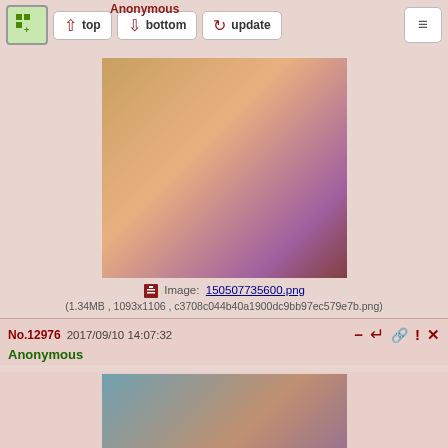Anonymous — top | bottom | update | menu
[Figure (illustration): Anime/cartoon character illustration - first post image]
Image: 150507735600.png
(1.34MB , 1093x1106 , c3708c044b40a1900dc9bb97ec579e7b.png)
No.12976  2017/09/10 14:07:32
Anonymous
[Figure (illustration): Anime/cartoon character illustration - second post image]
Image: 150507765200.png
(1.55MB , 1589x1014 , ef16879ccf32377ef502627d4d42463c.png)
No.12977  2017/09/10 14:08:04
Anonymous
[Figure (illustration): Partial image visible at bottom of page]
Post reply